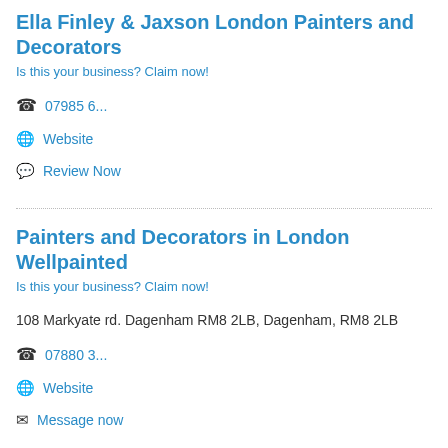Ella Finley & Jaxson London Painters and Decorators
Is this your business? Claim now!
07985 6...
Website
Review Now
Painters and Decorators in London Wellpainted
Is this your business? Claim now!
108 Markyate rd. Dagenham RM8 2LB, Dagenham, RM8 2LB
07880 3...
Website
Message now